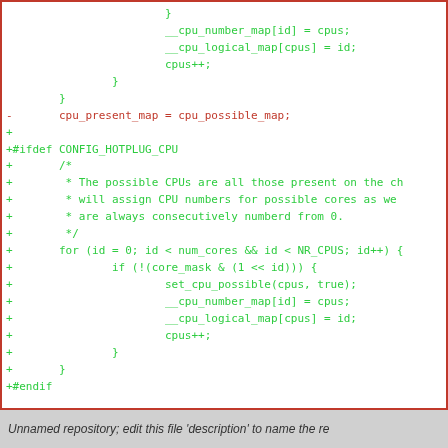[Figure (other): Code diff snippet showing C source code with added lines (green, prefixed with +) and removed lines (red, prefixed with -). Content includes closing braces, cpu_present_map assignment removed, ifdef CONFIG_HOTPLUG_CPU block added with comment about possible CPUs and a for loop with set_cpu_possible calls, then octeon_smp_hotplug_setup calls and closing braces.]
Unnamed repository; edit this file 'description' to name the re